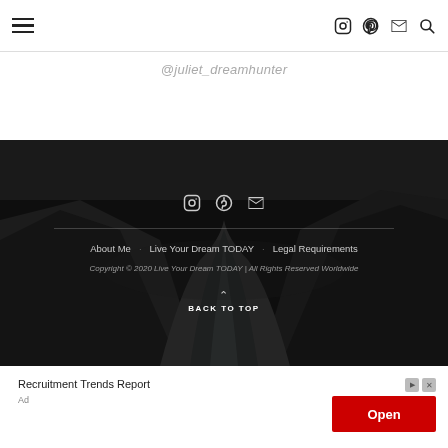Navigation header with hamburger menu and icons (Instagram, Pinterest, Mail, Search)
@juliet_dreamhunter
[Figure (photo): Dark landscape photo of a mountain river valley used as footer background]
About Me  Live Your Dream TODAY  Legal Requirements
Copyright © 2020 Live Your Dream TODAY | All Rights Reserved Worldwide
BACK TO TOP
Recruitment Trends Report
Open
Ad